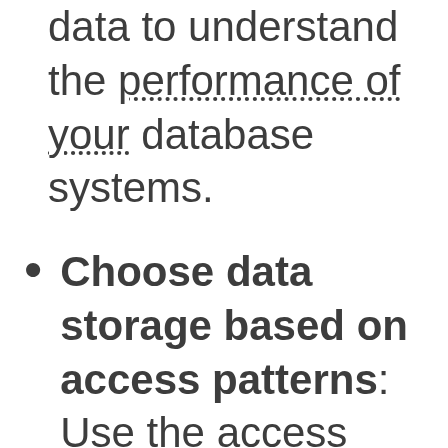data to understand the performance of your database systems.
Choose data storage based on access patterns: Use the access patterns of the workload to decide which services and